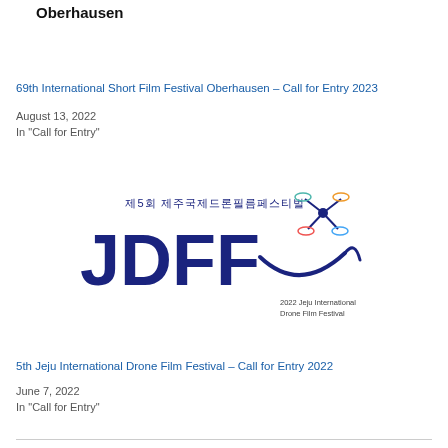Oberhausen
69th International Short Film Festival Oberhausen – Call for Entry 2023
August 13, 2022
In "Call for Entry"
[Figure (logo): JDFF – 2022 Jeju International Drone Film Festival logo with Korean text and drone graphic]
5th Jeju International Drone Film Festival – Call for Entry 2022
June 7, 2022
In "Call for Entry"